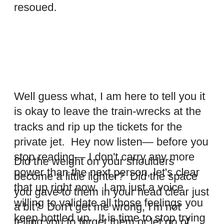resoued.
Well guess what, I am here to tell you it is okay to leave the train-wrecks at the tracks and rip up the tickets for the private jet.  Hey now listen— before you stop reading— I don't carry any more power than the next person, let's clear that up right now.  I am just a voice willing to validate all those feelings you keep bottled up.  It is time to stop trying to change and chase the people around you and look within to what you want out of your life.
Did the weight on your shoulders become a little lighter?  Did the space you gave to them in your head clear just a bit?  Don't get me wrong, I'm not telling you to forget them or let go of their hand as they drown in their lake of poor me; not even close.  What I am saying is you don't have to validate their definitions or beliefs anymore.  Stop trying to fix them and let them be.  Work on the vision of your life.  Step